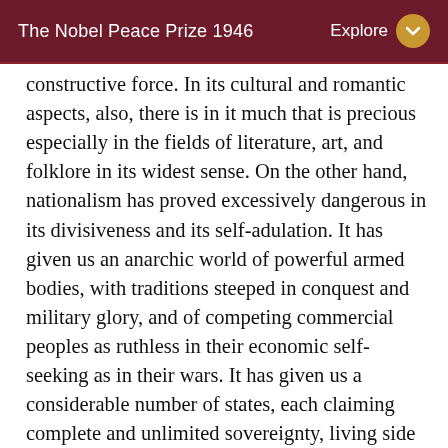The Nobel Peace Prize 1946   Explore
constructive force. In its cultural and romantic aspects, also, there is in it much that is precious especially in the fields of literature, art, and folklore in its widest sense. On the other hand, nationalism has proved excessively dangerous in its divisiveness and its self-adulation. It has given us an anarchic world of powerful armed bodies, with traditions steeped in conquest and military glory, and of competing commercial peoples as ruthless in their economic self-seeking as in their wars. It has given us a considerable number of states, each claiming complete and unlimited sovereignty, living side by side without being integrated in any way or under any curb, governed by an uneasy balance of power manipulated by diplomatic maneuvering, based not on principles accepted by all but on reasons of state, recognizing no common religious or ethical control